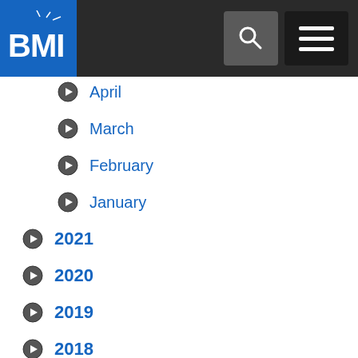BMI
April
March
February
January
2021
2020
2019
2018
2017
2016
2015
2014
2013